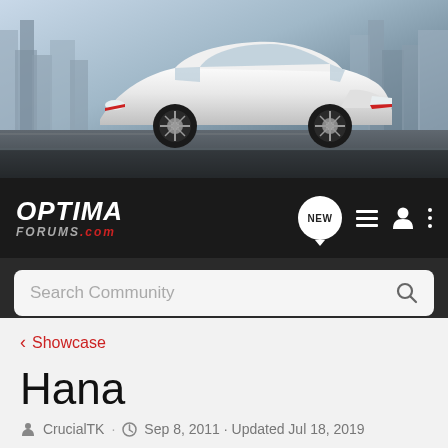[Figure (photo): Kia Optima white car driving on a road with a city skyline background. Banner/hero image for Optima Forums website.]
OPTIMA FORUMS.COM — navigation bar with NEW button, list icon, user icon, and more options icon
Search Community
< Showcase
Hana
CrucialTK · Sep 8, 2011 · Updated Jul 18, 2019
+ Follow